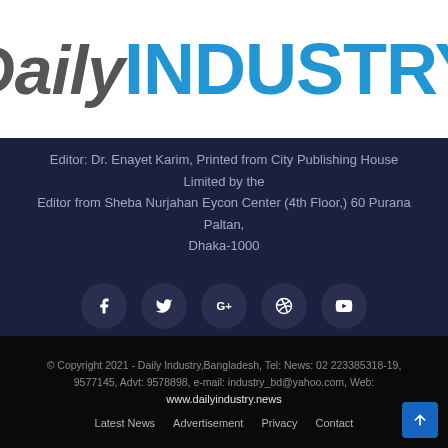[Figure (logo): Daily INDUSTRY logo with 'Daily' in gray italic and 'INDUSTRY' in bold blue capital letters, with www.daily-industry.com below]
Editor: Dr. Enayet Karim, Printed from City Publishing House Limited by the Editor from Sheba Nurjahan Eycon Center (4th Floor,) 60 Purana Paltan, Dhaka-1000
[Figure (infographic): Row of 5 social media icon buttons (circular dark): Facebook, Twitter, Google+, Dribbble, YouTube]
© Copyright 2021 - Daily Industry,Bangladesh, Tel: News: 02 223385318-19, 9577145, Advt: 9578898, e-mail: industry_bd@yahoo.com, Web: www.dailyindustry.news
Latest News
Advertisement
Privacy
Contact